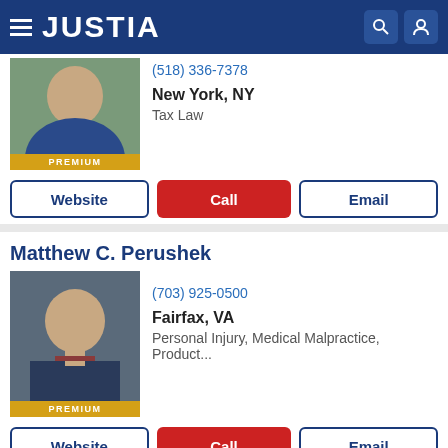JUSTIA
(518) 336-7378
New York, NY
Tax Law
Website  Call  Email
Matthew C. Perushek
(703) 925-0500
Fairfax, VA
Personal Injury, Medical Malpractice, Product...
Website  Call  Email
Volha (Olga) Hirynskaya